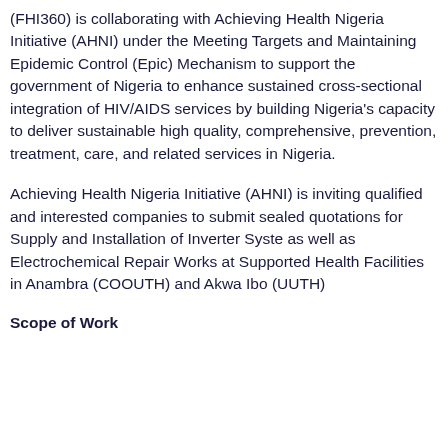(FHI360) is collaborating with Achieving Health Nigeria Initiative (AHNI) under the Meeting Targets and Maintaining Epidemic Control (Epic) Mechanism to support the government of Nigeria to enhance sustained cross-sectional integration of HIV/AIDS services by building Nigeria's capacity to deliver sustainable high quality, comprehensive, prevention, treatment, care, and related services in Nigeria.
Achieving Health Nigeria Initiative (AHNI) is inviting qualified and interested companies to submit sealed quotations for Supply and Installation of Inverter Systems as well as Electrochemical Repair Works at Supported Health Facilities in Anambra (COOUTH) and Akwa Ibom (UUTH)
Scope of Work